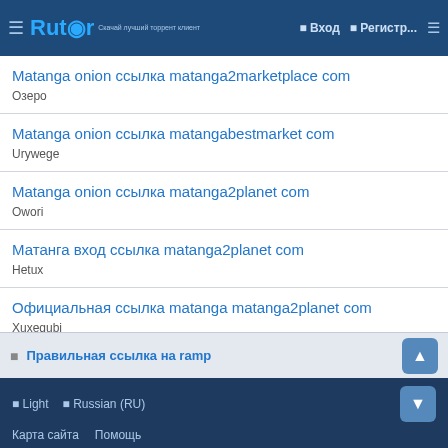Rutor | Вход | Регистр...
Matanga onion ссылка matanga2marketplace com
Озеро
Matanga onion ссылка matangabestmarket com
Urywege
Matanga onion ссылка matanga2planet com
Owori
Матанга вход ссылка matanga2planet com
Hetux
Официальная ссылка matanga matanga2planet com
Xuxequbi
Правильная ссылка на ramp
Light | Russian (RU) | Карта сайта | Помощь